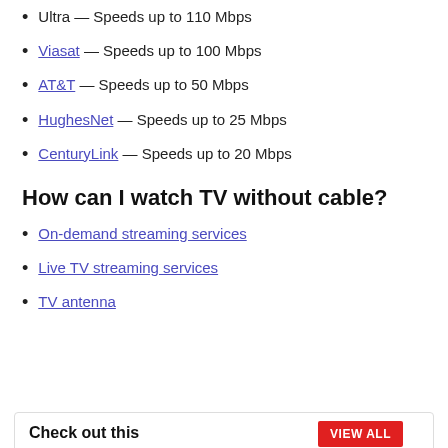Ultra — Speeds up to 110 Mbps
Viasat — Speeds up to 100 Mbps
AT&T — Speeds up to 50 Mbps
HughesNet — Speeds up to 25 Mbps
CenturyLink — Speeds up to 20 Mbps
How can I watch TV without cable?
On-demand streaming services
Live TV streaming services
TV antenna